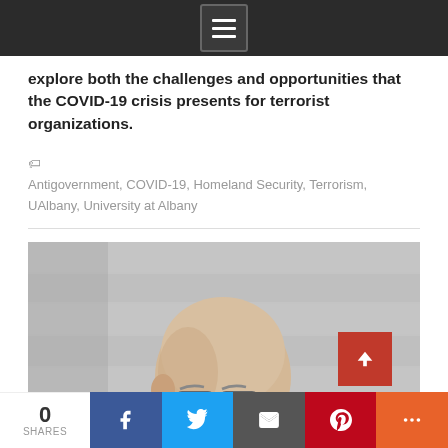[Figure (screenshot): Navigation bar with hamburger menu icon on dark background]
explore both the challenges and opportunities that the COVID-19 crisis presents for terrorist organizations.
Antigovernment, COVID-19, Homeland Security, Terrorism, UAlbany, University at Albany
[Figure (photo): A bald man with glasses, photographed in partial profile/three-quarter view against a gray textured background, wearing a blue shirt.]
[Figure (screenshot): Social share bar at bottom: 0 SHARES, Facebook (blue), Twitter (light blue), Email (dark gray), Pinterest (red), More (orange-red)]